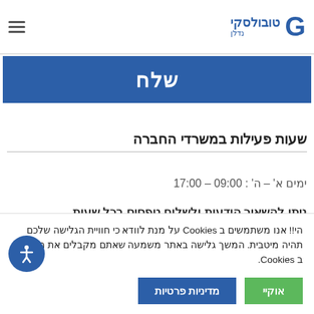טובולסקי נדלן – logo with hamburger menu
שלח
שעות פעילות במשרדי החברה
ימים א' – ה' : 09:00 – 17:00
ניתן להשאיר הודעות ולשלוח טפסים בכל שעות
הי!! אנו משתמשים ב Cookies על מנת לוודא כי חוויית הגלישה שלכם תהיה מיטבית. המשך גלישה באתר משמעה שאתם מקבלים את השימוש ב Cookies.
אוקיי
מדיניות פרטיות